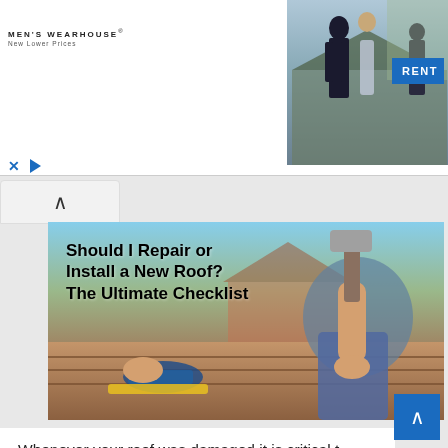[Figure (screenshot): Men's Wearhouse advertisement banner showing a couple in formal wear, with a 'RENT' button. Ad controls (X and play button) are visible below.]
[Figure (photo): Article header image showing a person hammering on a roof with tools visible. Overlaid bold text reads 'Should I Repair or Install a New Roof? The Ultimate Checklist']
Whenever your roof was damaged it is critical to have repairs immediately. When it involves deciding on if you require roof reparation or desire anew roof altogether it's ideal to get an